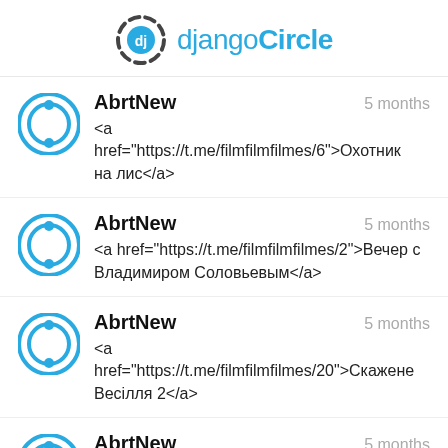[Figure (logo): djangoCircle logo with circular dj icon and blue text]
AbrtNew
5 months
<a href="https://t.me/filmfilmfilmes/6">Охотник на лис</a>
AbrtNew
5 months
<a href="https://t.me/filmfilmfilmes/2">Вечер с Владимиром Соловьевым</a>
AbrtNew
5 months
<a href="https://t.me/filmfilmfilmes/20">Скажене Весілля 2</a>
AbrtNew
5 months